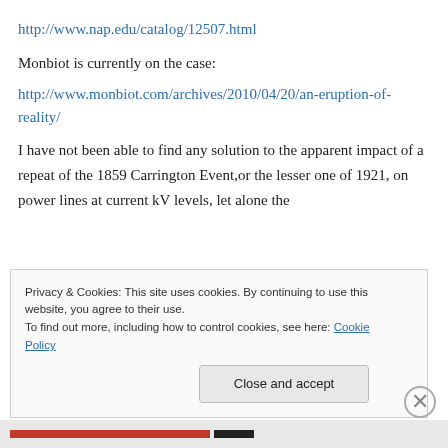http://www.nap.edu/catalog/12507.html
Monbiot is currently on the case:
http://www.monbiot.com/archives/2010/04/20/an-eruption-of-reality/
I have not been able to find any solution to the apparent impact of a repeat of the 1859 Carrington Event,or the lesser one of 1921, on power lines at current kV levels, let alone the
Privacy & Cookies: This site uses cookies. By continuing to use this website, you agree to their use.
To find out more, including how to control cookies, see here: Cookie Policy
Close and accept